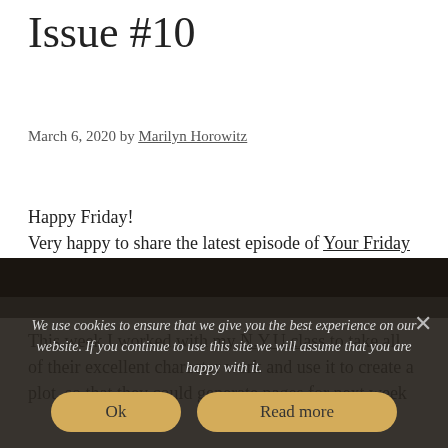Issue #10
March 6, 2020 by Marilyn Horowitz
Happy Friday!
Very happy to share the latest episode of Your Friday Funnys.
This week I worked with my N.Y.U class to take all of their excellent character work and use it to create a plot, so that they could generate pages for next week
We use cookies to ensure that we give you the best experience on our website. If you continue to use this site we will assume that you are happy with it.